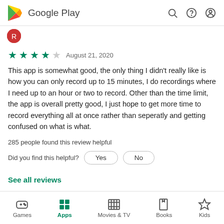Google Play
★★★★☆  August 21, 2020
This app is somewhat good, the only thing I didn't really like is how you can only record up to 15 minutes, I do recordings where I need up to an hour or two to record. Other than the time limit, the app is overall pretty good, I just hope to get more time to record everything all at once rather than seperatly and getting confused on what is what.
285 people found this review helpful
Did you find this helpful?  Yes  No
See all reviews
Games  Apps  Movies & TV  Books  Kids